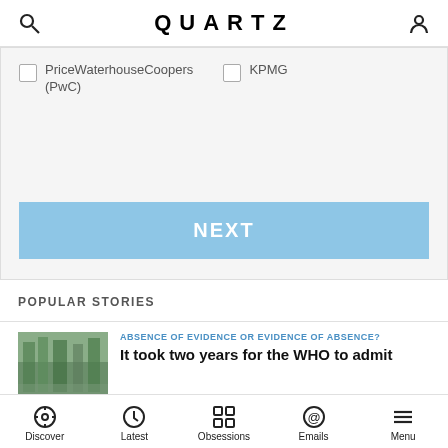QUARTZ
PriceWaterhouseCoopers (PwC)
KPMG
NEXT
POPULAR STORIES
[Figure (photo): Thumbnail image of shelves with products]
ABSENCE OF EVIDENCE OR EVIDENCE OF ABSENCE?
It took two years for the WHO to admit
Discover  Latest  Obsessions  Emails  Menu